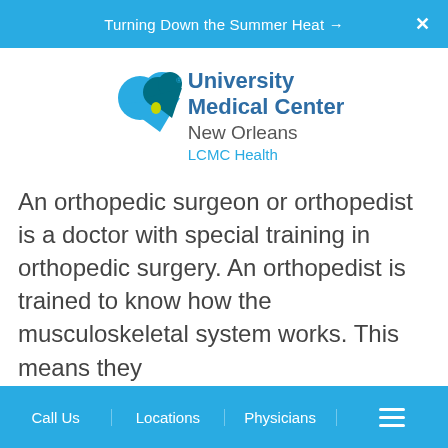Turning Down the Summer Heat →
[Figure (logo): University Medical Center New Orleans LCMC Health logo with teal heart/leaf graphic]
An orthopedic surgeon or orthopedist is a doctor with special training in orthopedic surgery. An orthopedist is trained to know how the musculoskeletal system works. This means they
Call Us | Locations | Physicians | ☰